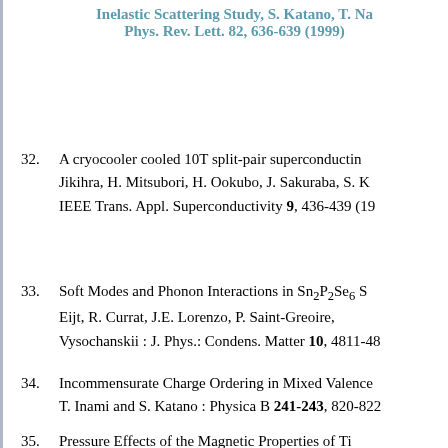Inelastic Scattering Study, S. Katano, T. Na... Phys. Rev. Lett. 82, 636-639 (1999)
32. A cryocooler cooled 10T split-pair superconducting... Jikihra, H. Mitsubori, H. Ookubo, J. Sakuraba, S. K... IEEE Trans. Appl. Superconductivity 9, 436-439 (19...
33. Soft Modes and Phonon Interactions in Sn2P2Se6 S... Eijt, R. Currat, J.E. Lorenzo, P. Saint-Greoire,... Vysochanskii : J. Phys.: Condens. Matter 10, 4811-48...
34. Incommensurate Charge Ordering in Mixed Valence... T. Inami and S. Katano : Physica B 241-243, 820-822...
35. Pressure Effects of the Magnetic Properties of Ti...